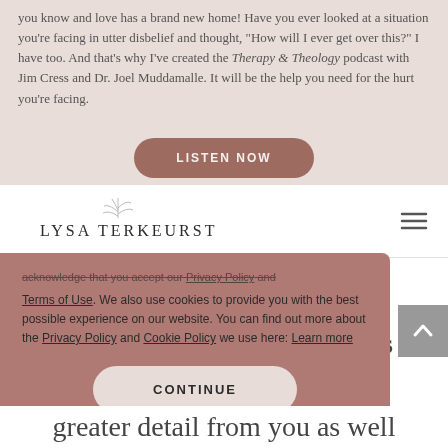you know and love has a brand new home! Have you ever looked at a situation you're facing in utter disbelief and thought, "How will I ever get over this?" I have too. And that's why I've created the Therapy & Theology podcast with Jim Cress and Dr. Joel Muddamalle. It will be the help you need for the hurt you're facing.
LISTEN NOW
[Figure (logo): Lysa TerKeurst logo with botanical illustration above the text]
[Figure (illustration): Hamburger menu icon (three horizontal lines)]
acknowledge that you accept our Privacy Policy and Terms of Use. We also use cookies to provide you with the best possible experience on our website. You can find out more about the Privacy Policy and Cookie Policy we use here: Learn more
CONTINUE
greater detail from you as well